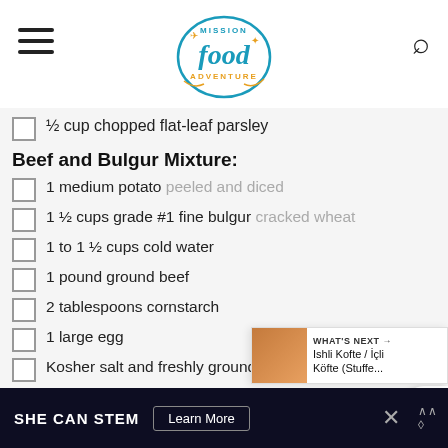Mission Food Adventure
½ cup chopped flat-leaf parsley
Beef and Bulgur Mixture:
1 medium potato peeled and diced
1 ½ cups grade #1 fine bulgur cracked wheat
1 to 1 ½ cups cold water
1 pound ground beef
2 tablespoons cornstarch
1 large egg
Kosher salt and freshly ground black pepper
Paprika
To Finish:
¼ cup extra-virgin olive oil
¼ cup water